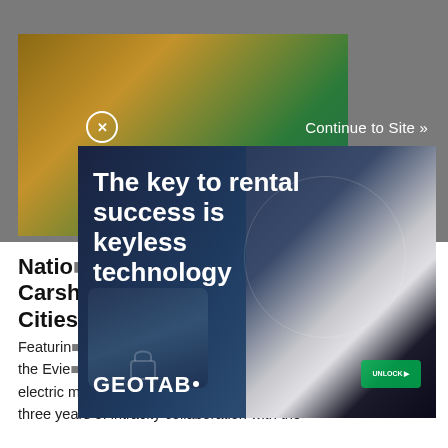[Figure (screenshot): Screenshot of a webpage showing an article with a Geotab advertisement overlay. The ad shows 'The key to rental success is keyless technology' with GEOTAB logo and a car/phone image. Close button (X) and 'Continue to Site »' text visible at top of ad.]
Natio... blic Carsh... Cities...
Featuring... ions, the Evie... blic electric mobility program and represents more than three years of intracity collaboration with the